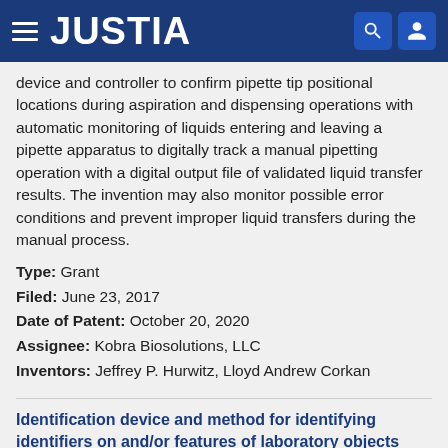JUSTIA
device and controller to confirm pipette tip positional locations during aspiration and dispensing operations with automatic monitoring of liquids entering and leaving a pipette apparatus to digitally track a manual pipetting operation with a digital output file of validated liquid transfer results. The invention may also monitor possible error conditions and prevent improper liquid transfers during the manual process.
Type: Grant
Filed: June 23, 2017
Date of Patent: October 20, 2020
Assignee: Kobra Biosolutions, LLC
Inventors: Jeffrey P. Hurwitz, Lloyd Andrew Corkan
Identification device and method for identifying identifiers on and/or features of laboratory objects